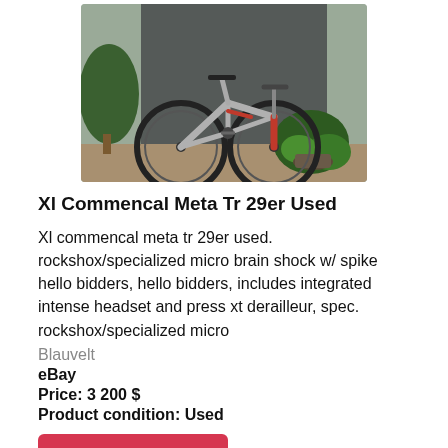[Figure (photo): Mountain bike (Commencal Meta TR 29er) photographed outdoors against a dark stone wall with plants/garden in background. Bike is grey with red fork and accents.]
Xl Commencal Meta Tr 29er Used
Xl commencal meta tr 29er used. rockshox/specialized micro brain shock w/ spike hello bidders, hello bidders, includes integrated intense headset and press xt derailleur, spec. rockshox/specialized micro
Blauvelt
eBay
Price: 3 200 $
Product condition: Used
See details